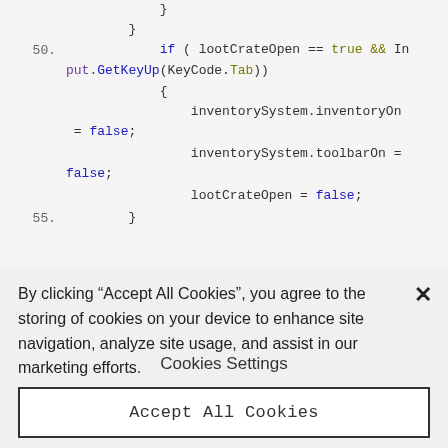[Figure (screenshot): Code editor screenshot showing lines 50-55 of C# Unity code with syntax highlighting. Line 50: if ( lootCrateOpen == true && Input.GetKeyUp(KeyCode.Tab)) { inventorySystem.inventoryOn = false; inventorySystem.toolbarOn = false; lootCrateOpen = false; Line 55: }]
By clicking “Accept All Cookies”, you agree to the storing of cookies on your device to enhance site navigation, analyze site usage, and assist in our marketing efforts.
Cookies Settings
Accept All Cookies